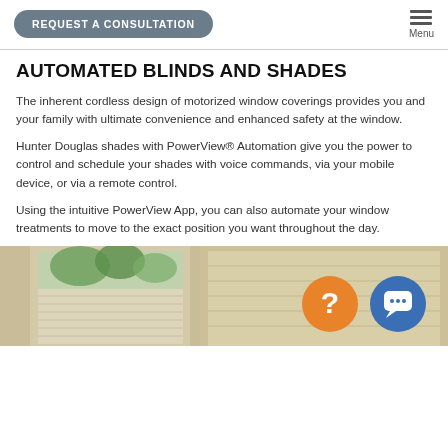REQUEST A CONSULTATION | Menu
AUTOMATED BLINDS AND SHADES
The inherent cordless design of motorized window coverings provides you and your family with ultimate convenience and enhanced safety at the window.
Hunter Douglas shades with PowerView® Automation give you the power to control and schedule your shades with voice commands, via your mobile device, or via a remote control.
Using the intuitive PowerView App, you can also automate your window treatments to move to the exact position you want throughout the day.
[Figure (photo): Photo of motorized window blinds/shades partially raised, showing view of trees outside, with orange question mark FAB button and blue chat FAB button overlaid in bottom right area]